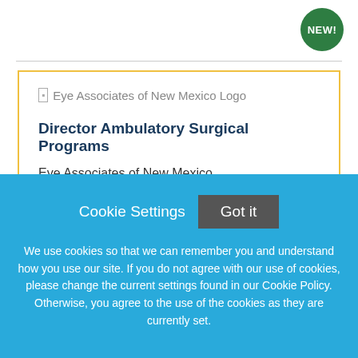[Figure (logo): NEW! badge - green circle with white bold text]
Director Ambulatory Surgical Programs
Eye Associates of New Mexico Logo
Eye Associates of New Mexico
Albuquerque, New Mexico
Cookie Settings   Got it
We use cookies so that we can remember you and understand how you use our site. If you do not agree with our use of cookies, please change the current settings found in our Cookie Policy. Otherwise, you agree to the use of the cookies as they are currently set.